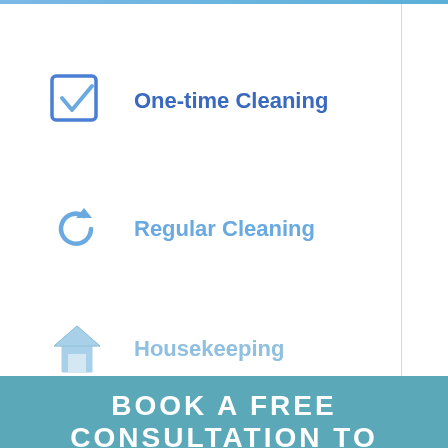One-time Cleaning
Regular Cleaning
Housekeeping
BOOK A FREE CONSULTATION TO